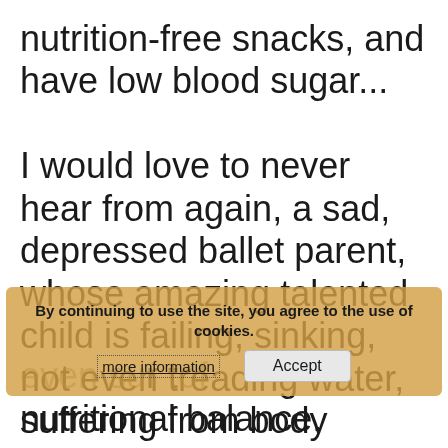nutrition-free snacks, and have low blood sugar...

I would love to never hear from again, a sad, depressed ballet parent, whose amazing talented child is failing, sinking, not even treading water, suffering from body image problems, or self esteem problems, and contemplating quitting ballet, or even su_r t_of nutritional balance.
By continuing to use the site, you agree to the use of cookies.
more information
Accept